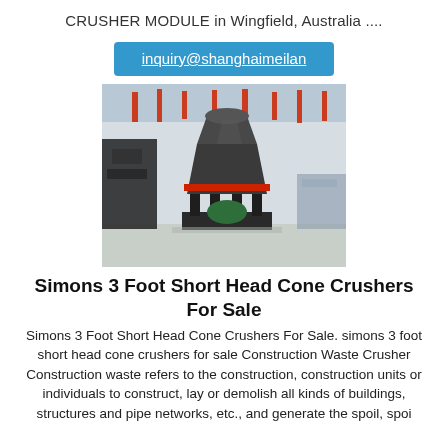CRUSHER MODULE in Wingfield, Australia ....
inquiry@shanghaimeilan
[Figure (photo): Industrial cone crusher machine displayed in a large warehouse/factory setting, with red decorative ribbons in the background.]
Simons 3 Foot Short Head Cone Crushers For Sale
Simons 3 Foot Short Head Cone Crushers For Sale. simons 3 foot short head cone crushers for sale Construction Waste Crusher Construction waste refers to the construction, construction units or individuals to construct, lay or demolish all kinds of buildings, structures and pipe networks, etc., and generate the spoil, spoi